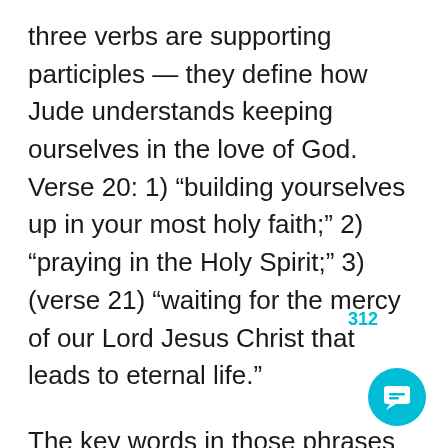three verbs are supporting participles — they define how Jude understands keeping ourselves in the love of God. Verse 20: 1) “building yourselves up in your most holy faith;” 2) “praying in the Holy Spirit;” 3) (verse 21) “waiting for the mercy of our Lord Jesus Christ that leads to eternal life.”
The key words in those phrases are “faith,” “prayer,” and “waiting.” So, keep ourselves in the love of God — keep